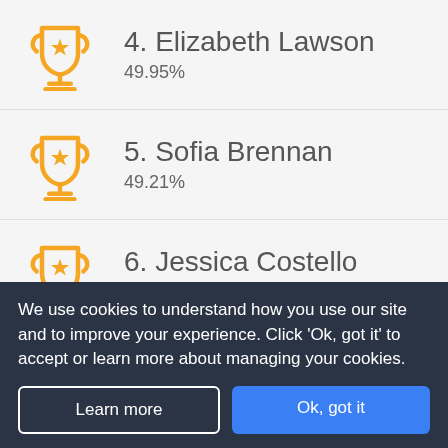4. Elizabeth Lawson
49.95%
5. Sofia Brennan
49.21%
6. Jessica Costello
47.03%
We use cookies to understand how you use our site and to improve your experience. Click 'Ok, got it' to accept or learn more about managing your cookies.
Learn more
Ok, got it